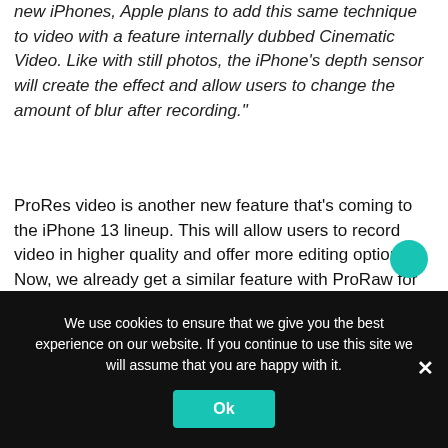new iPhones, Apple plans to add this same technique to video with a feature internally dubbed Cinematic Video. Like with still photos, the iPhone's depth sensor will create the effect and allow users to change the amount of blur after recording."
ProRes video is another new feature that's coming to the iPhone 13 lineup. This will allow users to record video in higher quality and offer more editing options. Now, we already get a similar feature with ProRaw for photos in the iPhone 12 models. Unfortunately, this new feature is said to be exclusive to the higher-end variants.
We use cookies to ensure that we give you the best experience on our website. If you continue to use this site we will assume that you are happy with it.